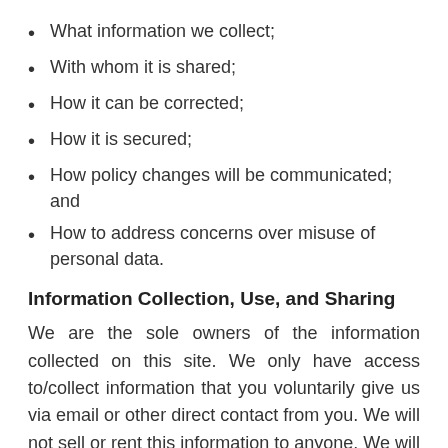What information we collect;
With whom it is shared;
How it can be corrected;
How it is secured;
How policy changes will be communicated; and
How to address concerns over misuse of personal data.
Information Collection, Use, and Sharing
We are the sole owners of the information collected on this site. We only have access to/collect information that you voluntarily give us via email or other direct contact from you. We will not sell or rent this information to anyone. We will use your information to respond to you, regarding the reason